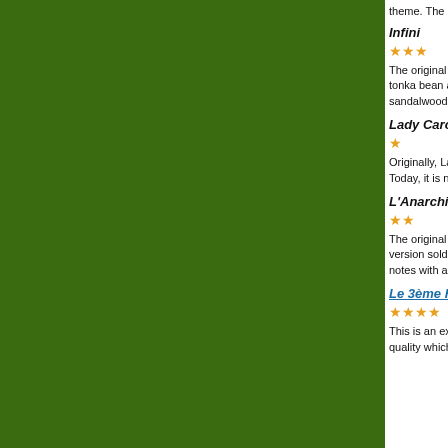theme. The Eau de
Infini
★★★
The original Infini is tonka bean and ve sandalwood overta
Lady Caron
★
Originally, Lady Ca Today, it is not that
L'Anarchiste
★★
The original version version sold today notes with a distino
Le 3ème Homme d
★★★★
This is an excellen quality which is so